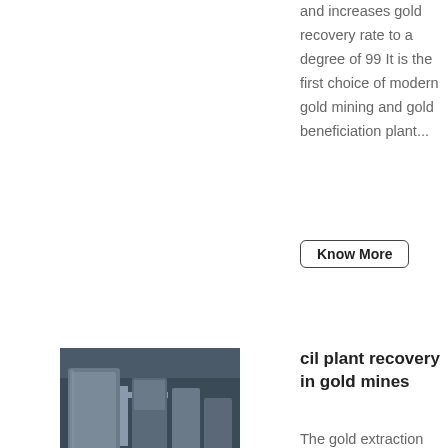and increases gold recovery rate to a degree of 99 It is the first choice of modern gold mining and gold beneficiation plant...
Know More
[Figure (photo): Industrial CIL plant machinery photo showing large tanks and processing equipment in a factory setting]
cil plant recovery in gold mines
The gold extraction plant is a typical Carbon in Leach CIL plant It operates at an annual processing capacity of 340000t A gravity gold recovery circuit is also available to recover coarse gold particles and allows the CIL plant to process high grade ore View Details China Portable Gold CIL Carbon in Leach Plant Mineral...